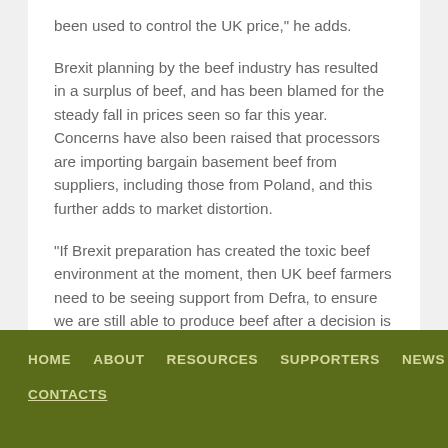been used to control the UK price," he adds.
Brexit planning by the beef industry has resulted in a surplus of beef, and has been blamed for the steady fall in prices seen so far this year. Concerns have also been raised that processors are importing bargain basement beef from suppliers, including those from Poland, and this further adds to market distortion.
“If Brexit preparation has created the toxic beef environment at the moment, then UK beef farmers need to be seeing support from Defra, to ensure we are still able to produce beef after a decision is made on our future EU relationship,” he concludes.
< back to news
HOME   ABOUT   RESOURCES   SUPPORTERS   NEWS   CONTACTS